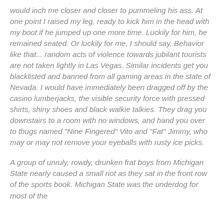would inch me closer and closer to pummeling his ass. At one point I raised my leg, ready to kick him in the head with my boot if he jumped up one more time. Luckily for him, he remained seated. Or luckily for me, I should say. Behavior like that... random acts of violence towards jubilant tourists are not taken lightly in Las Vegas. Similar incidents get you blacklisted and banned from all gaming areas in the state of Nevada. I would have immediately been dragged off by the casino lumberjacks, the visible security force with pressed shirts, shiny shoes and black walkie talkies. They drag you downstairs to a room with no windows, and hand you over to thugs named "Nine Fingered" Vito and "Fat" Jimmy, who may or may not remove your eyeballs with rusty ice picks.
A group of unruly, rowdy, drunken frat boys from Michigan State nearly caused a small riot as they sat in the front row of the sports book. Michigan State was the underdog for most of the